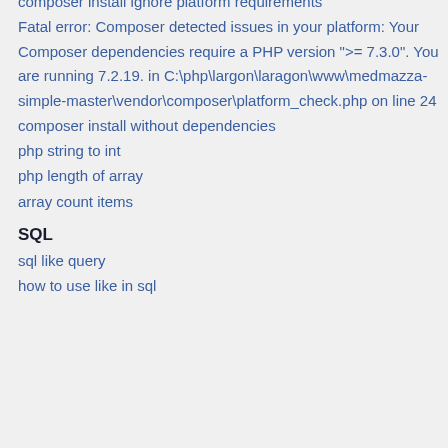Fatal error: Composer detected issues in your platform: Your Composer dependencies require a PHP version ">= 7.3.0". You are running 7.2.19. in C:\php\largon\laragon\www\medmazza-simple-master\vendor\composer\platform_check.php on line 24
composer install without dependencies
php string to int
php length of array
array count items
SQL
sql like query
how to use like in sql